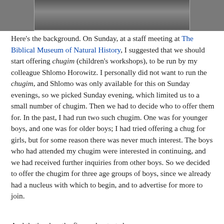[Figure (photo): Partial photo visible at top of page, cropped — appears to show a person in a dark jersey/uniform, only bottom portion visible.]
Here's the background. On Sunday, at a staff meeting at The Biblical Museum of Natural History, I suggested that we should start offering chugim (children's workshops), to be run by my colleague Shlomo Horowitz. I personally did not want to run the chugim, and Shlomo was only available for this on Sunday evenings, so we picked Sunday evening, which limited us to a small number of chugim. Then we had to decide who to offer them for. In the past, I had run two such chugim. One was for younger boys, and one was for older boys; I had tried offering a chug for girls, but for some reason there was never much interest. The boys who had attended my chugim were interested in continuing, and we had received further inquiries from other boys. So we decided to offer the chugim for three age groups of boys, since we already had a nucleus with which to begin, and to advertise for more to join.
And that's when the fireworks started.
Our Facebook post announcing the chugim met with heated